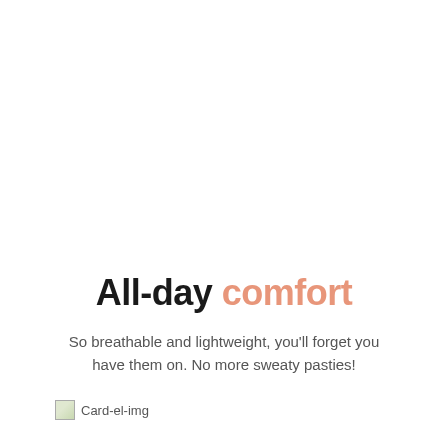All-day comfort
So breathable and lightweight, you'll forget you have them on. No more sweaty pasties!
[Figure (illustration): Small card element image placeholder labeled 'Card-el-img']